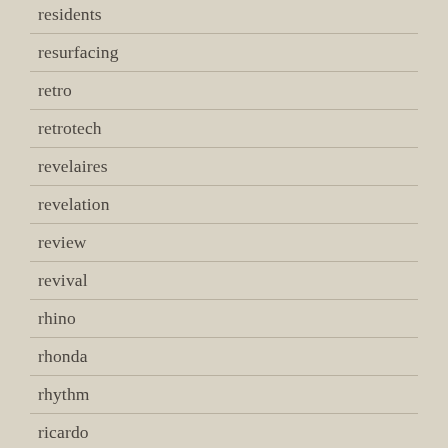residents
resurfacing
retro
retrotech
revelaires
revelation
review
revival
rhino
rhonda
rhythm
ricardo
richard
ridge
right